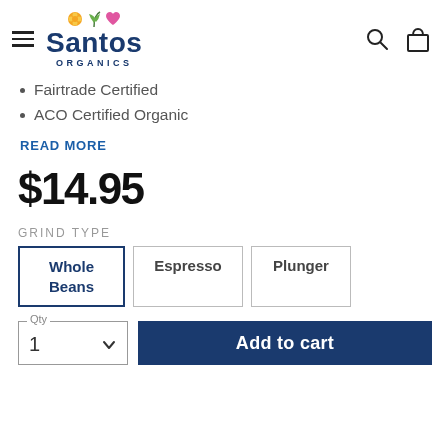[Figure (logo): Santos Organics logo with hamburger menu, search and bag icons in header navigation bar]
Fairtrade Certified
ACO Certified Organic
READ MORE
$14.95
GRIND TYPE
Whole Beans
Espresso
Plunger
Qty 1
Add to cart